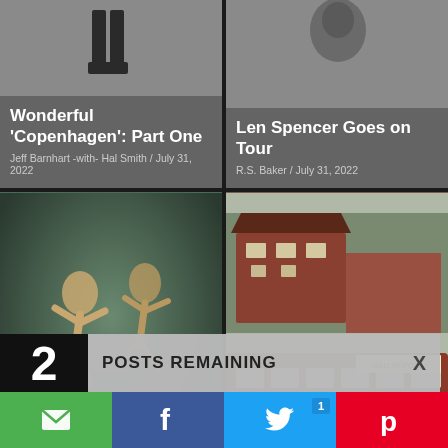[Figure (photo): Top-left card: gray background with boots/figure at top, article preview for 'Wonderful Copenhagen: Part One']
Wonderful 'Copenhagen': Part One
Jeff Barnhart -with- Hal Smith / July 31, 2022
[Figure (photo): Top-right card: gray background with partial portrait, article preview for 'Len Spencer Goes on Tour']
Len Spencer Goes on Tour
R.S. Baker / July 31, 2022
[Figure (illustration): Bottom-left: Album cover art for 'The Jam! EYAL VILNER Big Band' with dancing figures on teal/brown background]
[Figure (photo): Bottom-right: Photo of a red historic railroad car labeled 'Wallingford 104' with a person in cowboy hat]
2 POSTS REMAINING X
SUBSCRIBE|
Email | Facebook | Twitter 1 | Pinterest